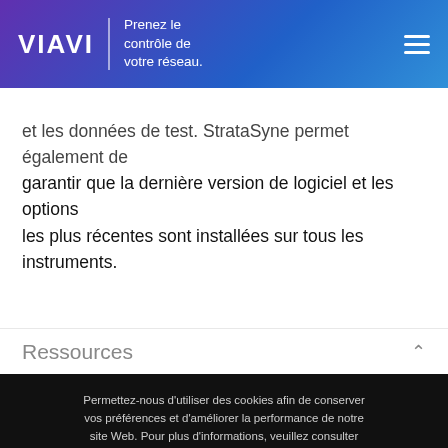VIAVI | Prenez le contrôle de votre réseau.
et les données de test. StrataSyne permet également de garantir que la dernière version de logiciel et les options les plus récentes sont installées sur tous les instruments.
Ressources
Permettez-nous d'utiliser des cookies afin de conserver vos préférences et d'améliorer la performance de notre site Web. Pour plus d'informations, veuillez consulter notre Politique de confidentialité ou Préférences de cookies.
ACCEPT